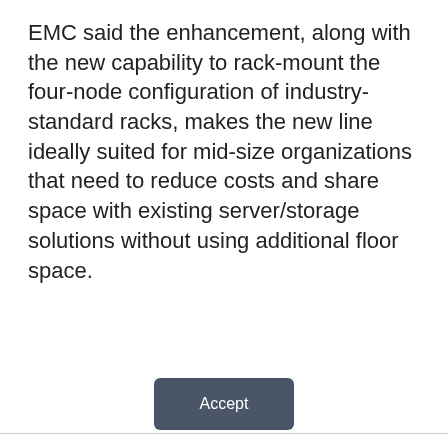EMC said the enhancement, along with the new capability to rack-mount the four-node configuration of industry-standard racks, makes the new line ideally suited for mid-size organizations that need to reduce costs and share space with existing server/storage solutions without using additional floor space.
This website stores cookies on your computer. These cookies are used to collect information about how you interact with our website and allow us to remember you. We use this information in order to improve and customize your browsing experience and for analytics and metrics about our visitors both on this website and other media. To find out more about the cookies we use, see our Privacy Policy. California residents have the right to direct us not to sell their personal information to third parties by filing an Opt-Out Request: Do Not Sell My Personal Info.
Accept